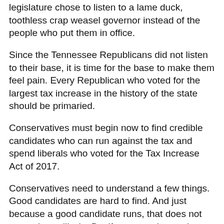legislature chose to listen to a lame duck, toothless crap weasel governor instead of the people who put them in office.
Since the Tennessee Republicans did not listen to their base, it is time for the base to make them feel pain. Every Republican who voted for the largest tax increase in the history of the state should be primaried.
Conservatives must begin now to find credible candidates who can run against the tax and spend liberals who voted for the Tax Increase Act of 2017.
Conservatives need to understand a few things. Good candidates are hard to find. And just because a good candidate runs, that does not mean they will win. But if conservatives unite, enough of these candidates will fall so that a message is sent.
Among the first targets should be liberal, faux Republican Sam Whitson. Whitson challenged former Representative Jeremy Durham in 2016 but came up short. Durham held the committee...